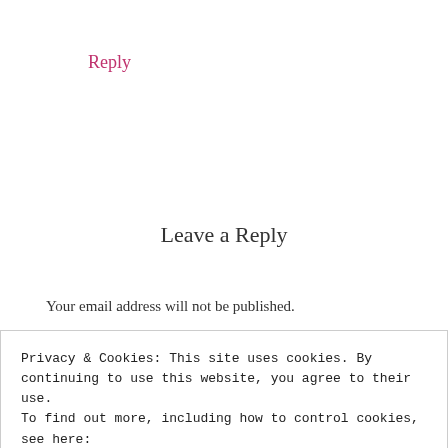Reply
Leave a Reply
Your email address will not be published.
Required fields are marked *
Privacy & Cookies: This site uses cookies. By continuing to use this website, you agree to their use.
To find out more, including how to control cookies, see here:
Cookie Policy
Close and accept